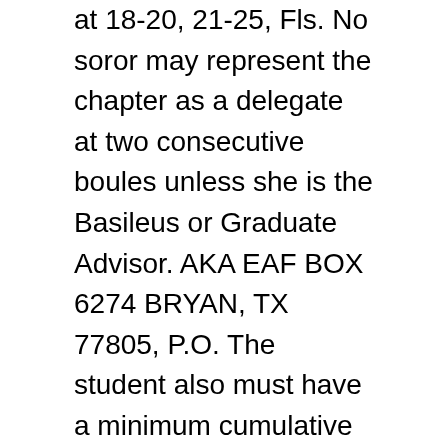at 18-20, 21-25, Fls. No soror may represent the chapter as a delegate at two consecutive boules unless she is the Basileus or Graduate Advisor. AKA EAF BOX 6274 BRYAN, TX 77805, P.O. The student also must have a minimum cumulative 2.5 GPA on a 4.0 scale. Please check this website and/or our social media platform (Facebook, Instagram or Twitter) for updates. Contee, a Spring 2018 initate of the Fort Washington (MD) Alumni Chapter of Kappa Alpha Psi, was sworn in to take Peter Newsham's position as acting chief. BOX 151534 ARLINGTON, TX 76015, Tiffany Egan http://www.xithetaomega.com, P.O. According to the Constitution and Bylaws, Article IV, Section 42: A soror must clear through the Alpha Kappa